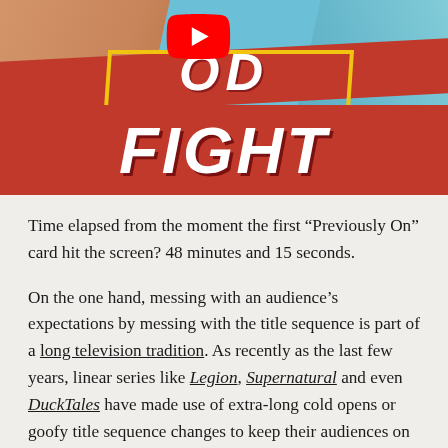[Figure (illustration): Colorful illustrated image showing two faces (one warm-toned, one blue-toned) flanking large stylized text reading 'GOD FIGHT' with a YouTube logo overlay and a red banner. The image appears to be promotional art for 'The Good Fight' series.]
Time elapsed from the moment the first “Previously On” card hit the screen? 48 minutes and 15 seconds.
On the one hand, messing with an audience’s expectations by messing with the title sequence is part of a long television tradition. As recently as the last few years, linear series like Legion, Supernatural and even DuckTales have made use of extra-long cold opens or goofy title sequence changes to keep their audiences on their toes. Reach back a bit further and you get Buffy the Vampire Slayer, which two decades ago made a (bad)